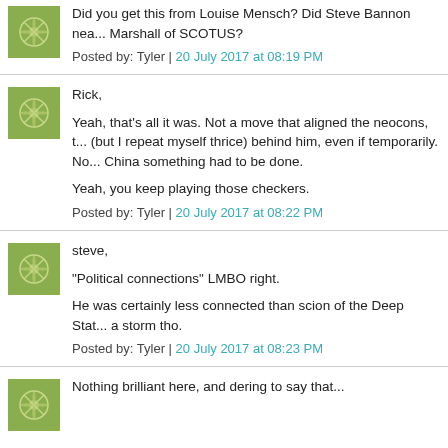Did you get this from Louise Mensch? Did Steve Bannon nea... Marshall of SCOTUS?
Posted by: Tyler | 20 July 2017 at 08:19 PM
Rick,

Yeah, that's all it was. Not a move that aligned the neocons, t... (but I repeat myself thrice) behind him, even if temporarily. No... China something had to be done.

Yeah, you keep playing those checkers.
Posted by: Tyler | 20 July 2017 at 08:22 PM
steve,

"Political connections" LMBO right.

He was certainly less connected than scion of the Deep Stat... a storm tho.
Posted by: Tyler | 20 July 2017 at 08:23 PM
Nothing brilliant here, anddering to say that...